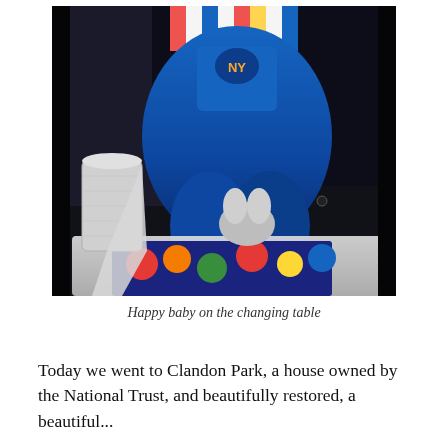[Figure (photo): A baby wearing blue overalls and a striped shirt sitting on a changing table with colorful floral-patterned fabric and a stuffed animal toy visible, along with a roll of paper towels to the side.]
Happy baby on the changing table
Today we went to Clandon Park, a house owned by the National Trust, and beautifully restored, a beautiful...